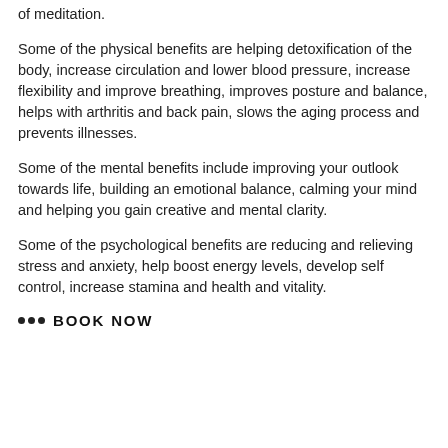of meditation.
Some of the physical benefits are helping detoxification of the body, increase circulation and lower blood pressure, increase flexibility and improve breathing, improves posture and balance, helps with arthritis and back pain, slows the aging process and prevents illnesses.
Some of the mental benefits include improving your outlook towards life, building an emotional balance, calming your mind and helping you gain creative and mental clarity.
Some of the psychological benefits are reducing and relieving stress and anxiety, help boost energy levels, develop self control, increase stamina and health and vitality.
••• BOOK NOW